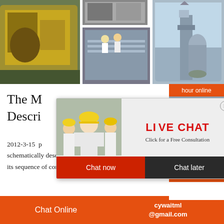[Figure (photo): Industrial machinery collage: three panels showing yellow industrial equipment/locomotive, conveyor/piping systems with workers, and industrial tower/silo structure]
The M... Descri...
2012-3-15 ... schematically describes the Mitsubishi Pro... its sequence of continuous and controlled s...
[Figure (screenshot): Live Chat popup overlay with engineer photo, 'LIVE CHAT' title in red, 'Click for a Free Consultation' subtitle, Chat now (red) and Chat later (dark) buttons, and close button]
[Figure (photo): Right sidebar with orange header 'hour online', female customer service agent with headset, orange 'Click to chat' button, and orange 'Enquiry' section]
Chat Online    cywaitml @gmail.com